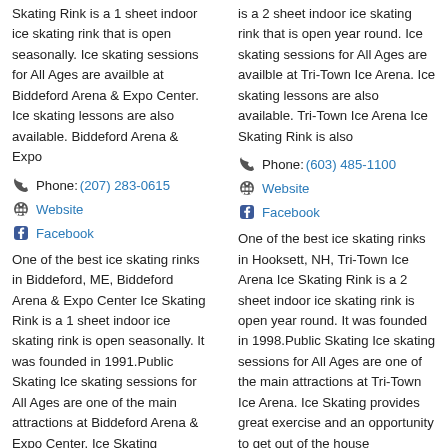Skating Rink is a 1 sheet indoor ice skating rink that is open seasonally. Ice skating sessions for All Ages are availble at Biddeford Arena & Expo Center. Ice skating lessons are also available. Biddeford Arena & Expo
is a 2 sheet indoor ice skating rink that is open year round. Ice skating sessions for All Ages are availble at Tri-Town Ice Arena. Ice skating lessons are also available. Tri-Town Ice Arena Ice Skating Rink is also
Phone: (207) 283-0615
Phone: (603) 485-1100
Website
Website
Facebook
Facebook
One of the best ice skating rinks in Biddeford, ME, Biddeford Arena & Expo Center Ice Skating Rink is a 1 sheet indoor ice skating rink is open seasonally. It was founded in 1991.Public Skating Ice skating sessions for All Ages are one of the main attractions at Biddeford Arena & Expo Center. Ice Skating provides great exercise and an opportunity to
One of the best ice skating rinks in Hooksett, NH, Tri-Town Ice Arena Ice Skating Rink is a 2 sheet indoor ice skating rink is open year round. It was founded in 1998.Public Skating Ice skating sessions for All Ages are one of the main attractions at Tri-Town Ice Arena. Ice Skating provides great exercise and an opportunity to get out of the house